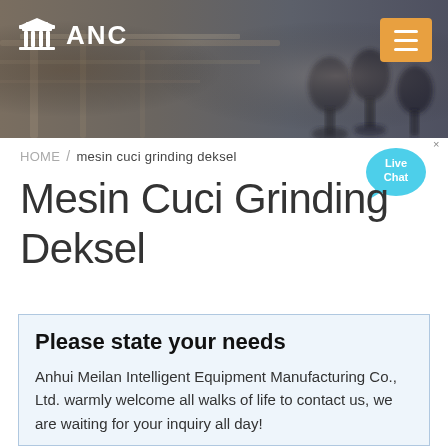[Figure (photo): Header banner showing an industrial/factory background with blurred machinery on the left and microphones on the right, with 'ANC' logo and a building/columns icon on the top left, and an orange hamburger menu button on the top right.]
ANC
HOME / mesin cuci grinding deksel
Mesin Cuci Grinding Deksel
Please state your needs
Anhui Meilan Intelligent Equipment Manufacturing Co., Ltd. warmly welcome all walks of life to contact us, we are waiting for your inquiry all day!